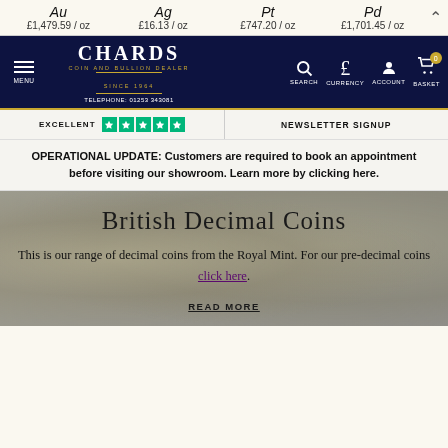Au £1,479.59 / oz | Ag £16.13 / oz | Pt £747.20 / oz | Pd £1,701.45 / oz
[Figure (screenshot): Chards Coin and Bullion Dealer navigation bar with menu, logo, search, currency, account, and basket icons]
EXCELLENT ★★★★★ | NEWSLETTER SIGNUP
OPERATIONAL UPDATE: Customers are required to book an appointment before visiting our showroom. Learn more by clicking here.
British Decimal Coins
This is our range of decimal coins from the Royal Mint. For our pre-decimal coins click here.
READ MORE